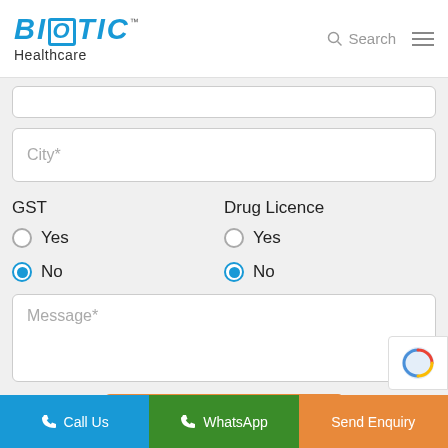[Figure (logo): Biotic Healthcare logo with blue stylized text and TM mark]
City*
GST
Drug Licence
Yes
Yes
No
No
Message*
Submit Enquiry
Call Us   WhatsApp   Send Enquiry